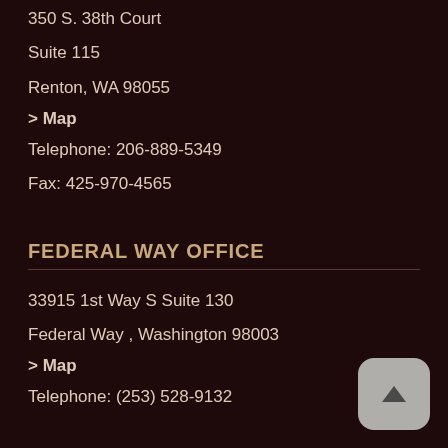350 S. 38th Court
Suite 115
Renton, WA 98055
> Map
Telephone: 206-889-5349
Fax: 425-970-4565
FEDERAL WAY OFFICE
33915 1st Way S Suite 130
Federal Way , Washington 98003
> Map
Telephone: (253) 528-9132